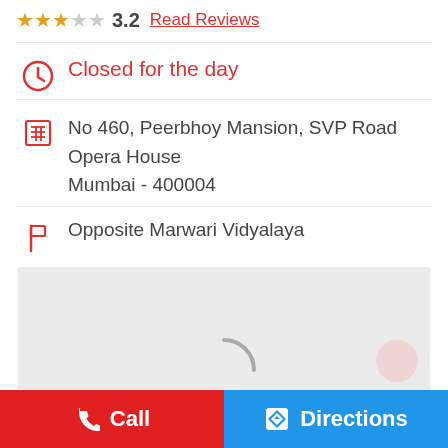3.2 Read Reviews
Closed for the day
No 460, Peerbhoy Mansion, SVP Road
Opera House
Mumbai - 400004
Opposite Marwari Vidyalaya
[Figure (screenshot): Loading map area with spinner]
Call
Directions